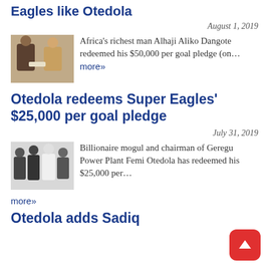Eagles like Otedola
August 1, 2019
[Figure (photo): Two men shaking hands indoors]
Africa's richest man Alhaji Aliko Dangote redeemed his $50,000 per goal pledge (on… more»
Otedola redeems Super Eagles' $25,000 per goal pledge
July 31, 2019
[Figure (photo): Group of men standing together, some in white shirts]
Billionaire mogul and chairman of Geregu Power Plant Femi Otedola has redeemed his $25,000 per… more»
Otedola adds Sadiq